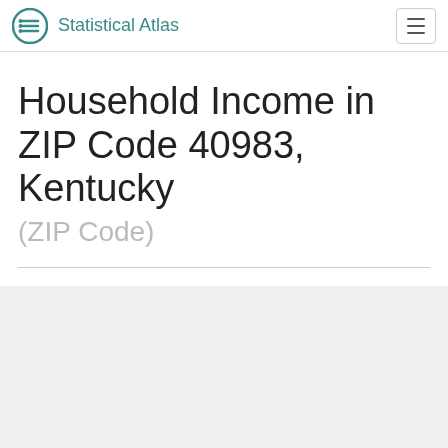Statistical Atlas
Household Income in ZIP Code 40983, Kentucky
(ZIP Code)